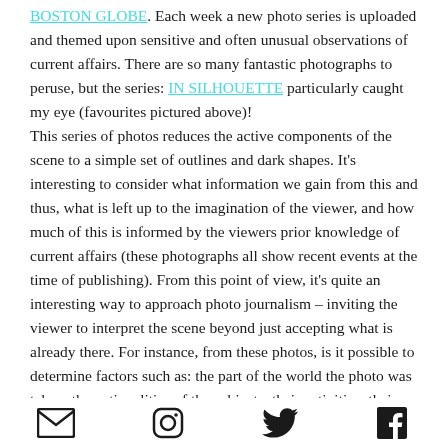BOSTON GLOBE. Each week a new photo series is uploaded and themed upon sensitive and often unusual observations of current affairs. There are so many fantastic photographs to peruse, but the series: IN SILHOUETTE particularly caught my eye (favourites pictured above)! This series of photos reduces the active components of the scene to a simple set of outlines and dark shapes. It's interesting to consider what information we gain from this and thus, what is left up to the imagination of the viewer, and how much of this is informed by the viewers prior knowledge of current affairs (these photographs all show recent events at the time of publishing). From this point of view, it's quite an interesting way to approach photo journalism – inviting the viewer to interpret the scene beyond just accepting what is already there. For instance, from these photos, is it possible to determine factors such as: the part of the world the photo was taken; the nationalities of the subjects; their activities; their emotions; their gender; their age; the time of day; the time of year; is the scene
[Figure (other): Row of four social media icons: email envelope, Instagram, Twitter bird, Facebook F]